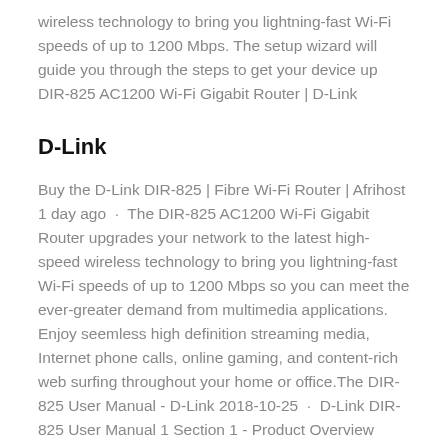wireless technology to bring you lightning-fast Wi-Fi speeds of up to 1200 Mbps. The setup wizard will guide you through the steps to get your device up DIR-825 AC1200 Wi-Fi Gigabit Router | D-Link
D-Link
Buy the D-Link DIR-825 | Fibre Wi-Fi Router | Afrihost 1 day ago · The DIR-825 AC1200 Wi-Fi Gigabit Router upgrades your network to the latest high-speed wireless technology to bring you lightning-fast Wi-Fi speeds of up to 1200 Mbps so you can meet the ever-greater demand from multimedia applications. Enjoy seemless high definition streaming media, Internet phone calls, online gaming, and content-rich web surfing throughout your home or office.The DIR-825 User Manual - D-Link 2018-10-25 · D-Link DIR-825 User Manual 1 Section 1 - Product Overview Package Contents Note: Using a power supply with a different voltage rating than the one included with the DIR-8 will void your warranty and may damage